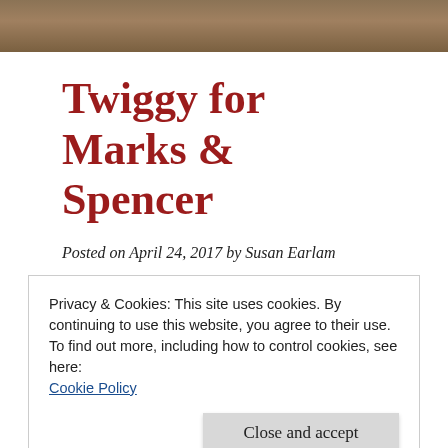[Figure (photo): Top portion of an image, showing a textured brown/tan surface, likely fabric or similar material.]
Twiggy for Marks & Spencer
Posted on April 24, 2017 by Susan Earlam
It’s not everyday I get invited to meet a fashion icon.
Privacy & Cookies: This site uses cookies. By continuing to use this website, you agree to their use.
To find out more, including how to control cookies, see here: Cookie Policy
Close and accept